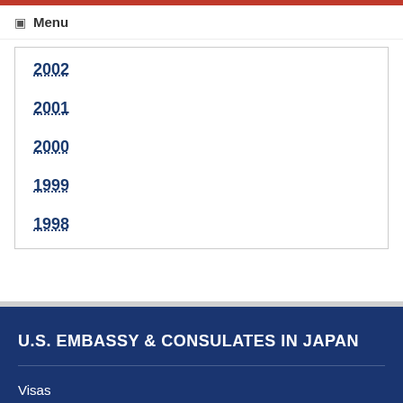Menu
2002
2001
2000
1999
1998
U.S. EMBASSY & CONSULATES IN JAPAN
Visas
U.S. Citizen Services